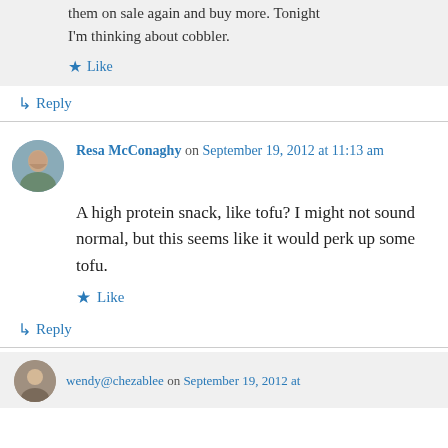them on sale again and buy more. Tonight I'm thinking about cobbler.
★ Like
↳ Reply
Resa McConaghy on September 19, 2012 at 11:13 am
A high protein snack, like tofu? I might not sound normal, but this seems like it would perk up some tofu.
★ Like
↳ Reply
wendy@chezablee on September 19, 2012 at